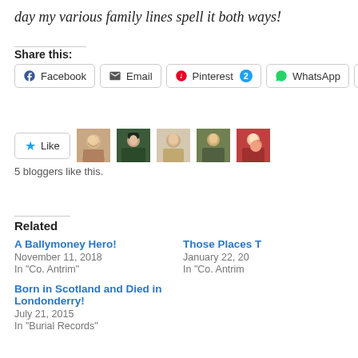day my various family lines spell it both ways!
Share this:
Facebook  Email  Pinterest 2  WhatsApp  Lin
Like  5 bloggers like this.
Related
A Ballymoney Hero!
November 11, 2018
In "Co. Antrim"
Those Places T
January 22, 20
In "Co. Antrim
Born in Scotland and Died in Londonderry!
July 21, 2015
In "Burial Records"